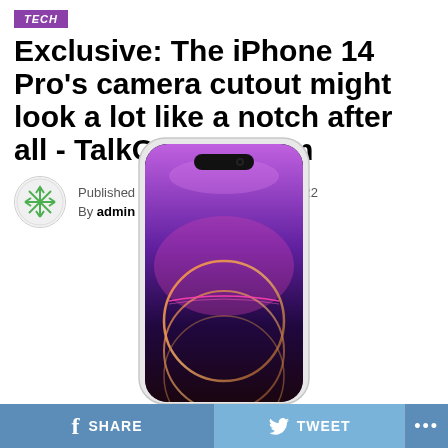TECH
Exclusive: The iPhone 14 Pro's camera cutout might look a lot like a notch after all - TalkOfNews.com
Published 4 days ago on August 31, 2022
By admin
[Figure (photo): iPhone 14 Pro render showing the pill-shaped camera cutout at top, purple gradient wallpaper, and circular ring design on wallpaper]
SHARE  TWEET  ...